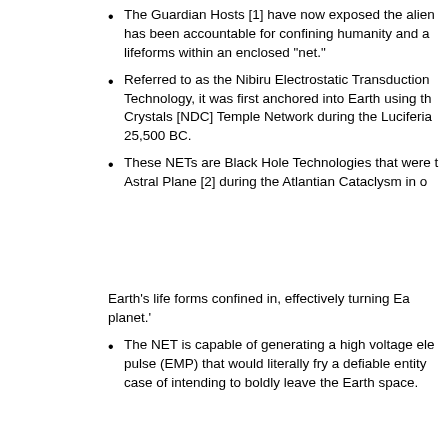The Guardian Hosts [1] have now exposed the alien has been accountable for confining humanity and a lifeforms within an enclosed “net.”
Referred to as the Nibiru Electrostatic Transduction Technology, it was first anchored into Earth using the Crystals [NDC] Temple Network during the Luciferian 25,500 BC.
These NETs are Black Hole Technologies that were t Astral Plane [2] during the Atlantian Cataclysm in o
Earth’s life forms confined in, effectively turning Ea planet.’
The NET is capable of generating a high voltage ele pulse (EMP) that would literally fry a defiable entity case of intending to boldly leave the Earth space.